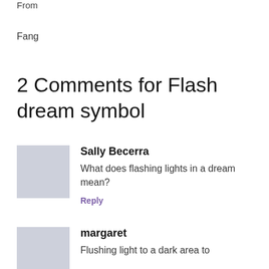From
Fang
2 Comments for Flash dream symbol
Sally Becerra
What does flashing lights in a dream mean?
Reply
margaret
Flushing light to a dark area to